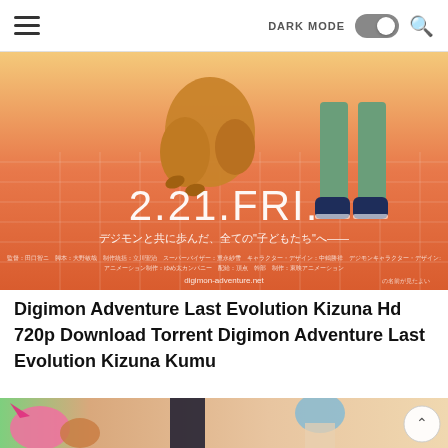DARK MODE [toggle]
[Figure (illustration): Digimon Adventure Last Evolution Kizuna movie poster featuring an orange/red gradient background with grid lines, a brown Agumon digimon crouching on the left, a human character (Tai) standing on the right in navy shoes, with white text '2.21.FRI.' and Japanese subtitle text, and URL digimon-adventure.net at the bottom.]
Digimon Adventure Last Evolution Kizuna Hd 720p Download Torrent Digimon Adventure Last Evolution Kizuna Kumu
[Figure (illustration): Partial view of another Digimon anime illustration showing anime characters including a pink bird-like digimon on the left and several human characters in the background against a warm indoor setting.]